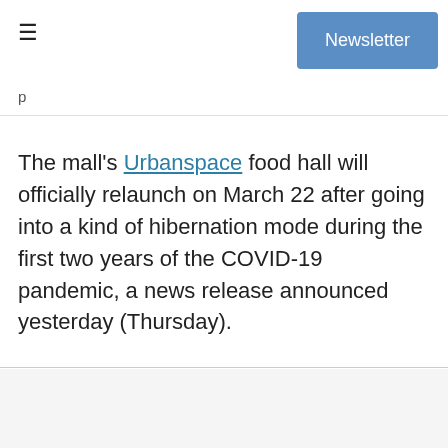Newsletter
The mall's Urbanspace food hall will officially relaunch on March 22 after going into a kind of hibernation mode during the first two years of the COVID-19 pandemic, a news release announced yesterday (Thursday).